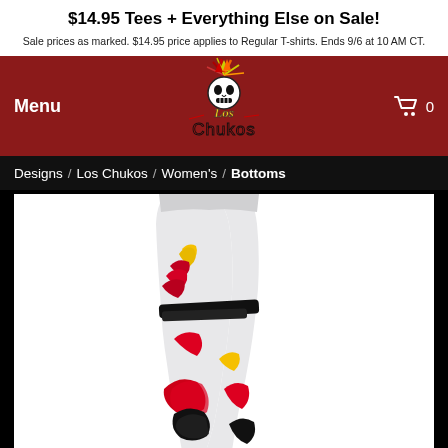$14.95 Tees + Everything Else on Sale!
Sale prices as marked. $14.95 price applies to Regular T-shirts. Ends 9/6 at 10 AM CT.
Menu  |  Los Chukos Logo  |  Cart 0
Designs / Los Chukos / Women's / Bottoms
[Figure (photo): White women's leggings with colorful graphic design featuring red, yellow, and black brush strokes and swirls on the lower legs. The product is displayed on a model from the waist down against a white background, with the image set inside a dark-bordered product display area.]